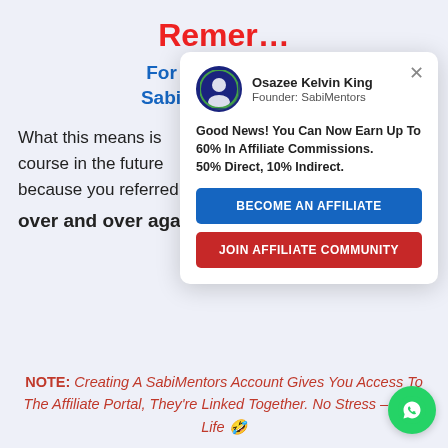Remer…
For Your Direct… SabiMentors, Yo…
What this means is… course in the future… because you referred… over and over again… INSANE!!!
[Figure (screenshot): Popup card from Osazee Kelvin King, Founder: SabiMentors. Message: Good News! You Can Now Earn Up To 60% In Affiliate Commissions. 50% Direct, 10% Indirect. Two buttons: BECOME AN AFFILIATE (blue), JOIN AFFILIATE COMMUNITY (red). Close button top right.]
NOTE: Creating A SabiMentors Account Gives You Access To The Affiliate Portal, They're Linked Together. No Stress – Easy Life 🤣